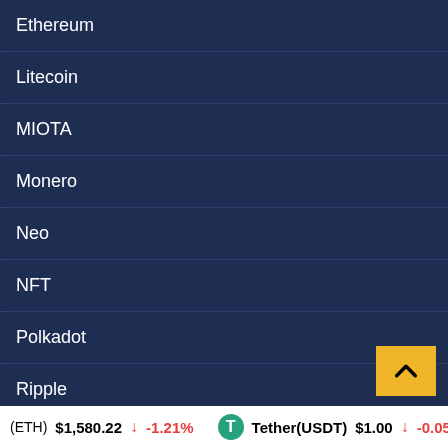Ethereum
Litecoin
MIOTA
Monero
Neo
NFT
Polkadot
Ripple
Safemoon
SHIBA INU
Solana
Stellar
Terra Luna
(ETH) $1,580.22 ↓ -1.21% Tether(USDT) $1.00 ↓ -0.05% B